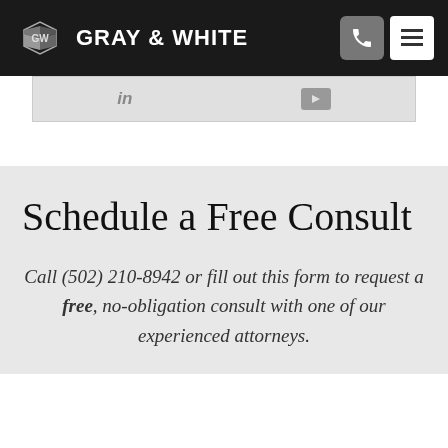GRAY & WHITE
[Figure (logo): Gray & White law firm logo with stylized GW icon and navigation icons (phone and menu)]
[Figure (other): Social media bar with LinkedIn and YouTube icons]
Schedule a Free Consult
Call (502) 210-8942 or fill out this form to request a free, no-obligation consult with one of our experienced attorneys.